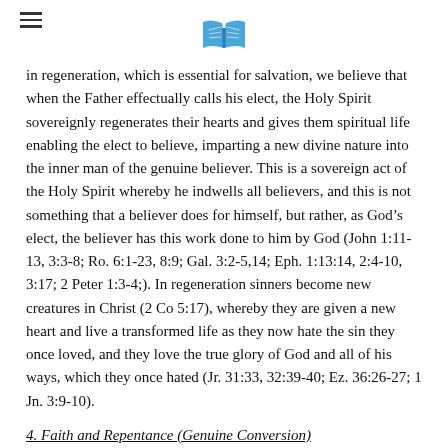[hamburger menu icon] [bible logo icon]
in regeneration, which is essential for salvation, we believe that when the Father effectually calls his elect, the Holy Spirit sovereignly regenerates their hearts and gives them spiritual life enabling the elect to believe, imparting a new divine nature into the inner man of the genuine believer. This is a sovereign act of the Holy Spirit whereby he indwells all believers, and this is not something that a believer does for himself, but rather, as God’s elect, the believer has this work done to him by God (John 1:11-13, 3:3-8; Ro. 6:1-23, 8:9; Gal. 3:2-5,14; Eph. 1:13:14, 2:4-10, 3:17; 2 Peter 1:3-4;). In regeneration sinners become new creatures in Christ (2 Co 5:17), whereby they are given a new heart and live a transformed life as they now hate the sin they once loved, and they love the true glory of God and all of his ways, which they once hated (Jr. 31:33, 32:39-40; Ez. 36:26-27; 1 Jn. 3:9-10).
4. Faith and Repentance (Genuine Conversion)
Having been chosen by God’s free grace in election, having been